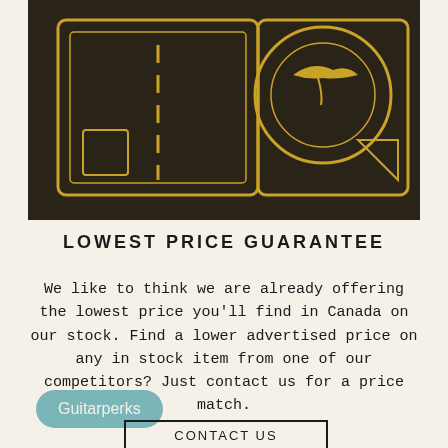[Figure (illustration): Dark brown/black background illustration with gold/yellow line art showing what appears to be currency/money imagery - includes a rectangular frame with road/dashes in center, and a circular design element on the right side with geometric shapes]
LOWEST PRICE GUARANTEE
We like to think we are already offering the lowest price you'll find in Canada on our stock. Find a lower advertised price on any in stock item from one of our competitors? Just contact us for a price match.
Guitarperks
CONTACT US